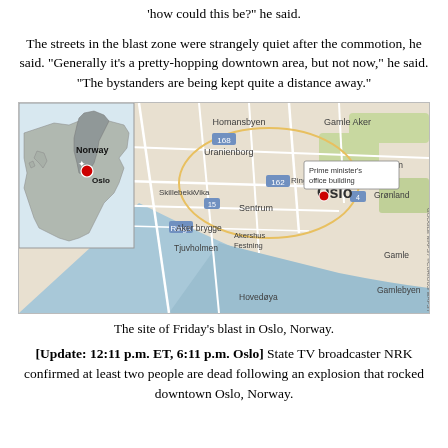'how could this be?' he said.
The streets in the blast zone were strangely quiet after the commotion, he said. "Generally it's a pretty-hopping downtown area, but not now," he said. "The bystanders are being kept quite a distance away."
[Figure (map): Google Maps image showing Norway location inset and detailed Oslo city map with red marker at the Prime minister's office building area.]
The site of Friday's blast in Oslo, Norway.
[Update: 12:11 p.m. ET, 6:11 p.m. Oslo] State TV broadcaster NRK confirmed at least two people are dead following an explosion that rocked downtown Oslo, Norway.